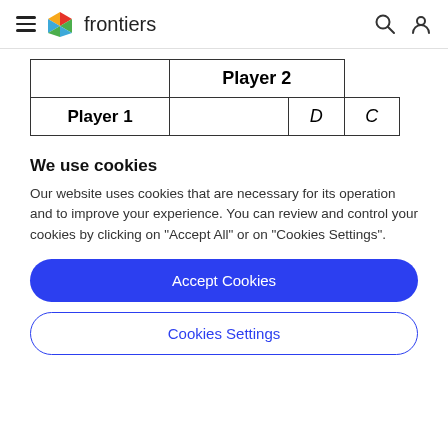frontiers
| Player 1 | Player 2 |  |
| --- | --- | --- |
|  | D | C |
We use cookies
Our website uses cookies that are necessary for its operation and to improve your experience. You can review and control your cookies by clicking on "Accept All" or on "Cookies Settings".
Accept Cookies
Cookies Settings